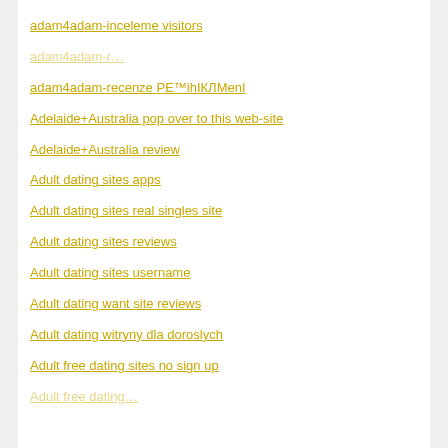adam4adam-inceleme visitors
adam4adam-recenze PE™ihIГЎEЎenГ
Adelaide+Australia pop over to this web-site
Adelaide+Australia review
Adult dating sites apps
Adult dating sites real singles site
Adult dating sites reviews
Adult dating sites username
Adult dating want site reviews
Adult dating witryny dla doroslych
Adult free dating sites no sign up
Adult free dating sites…